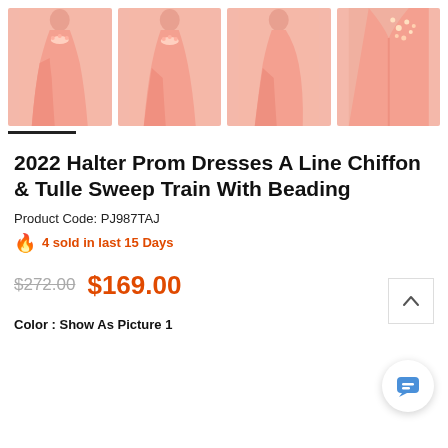[Figure (photo): Four product photos of a salmon/coral pink halter prom dress (A-line, chiffon & tulle with beading) shown from different angles on a mannequin. A black underline indicator appears below the first thumbnail.]
2022 Halter Prom Dresses A Line Chiffon & Tulle Sweep Train With Beading
Product Code: PJ987TAJ
🔥 4 sold in last 15 Days
$272.00  $169.00
Color : Show As Picture 1